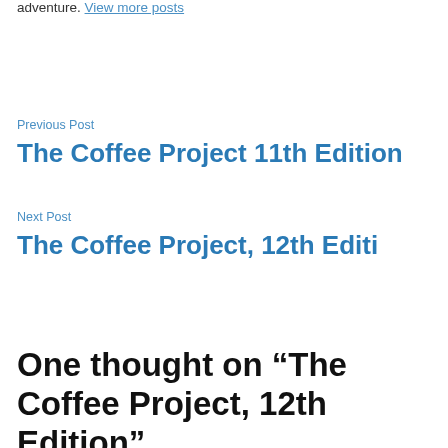adventure. View more posts
Previous Post
The Coffee Project 11th Edition
Next Post
The Coffee Project, 12th Editi
One thought on “The Coffee Project, 12th Edition”